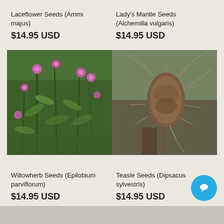Laceflower Seeds (Ammi majus)
$14.95 USD
Lady's Mantle Seeds (Alchemilla vulgaris)
$14.95 USD
[Figure (photo): Willowherb plant with pink flowers on green stems against leafy background]
[Figure (photo): Teasle seed head (spiky brown dried flower head) on a stem with blurred background]
Willowherb Seeds (Epilobium parviflorum)
$14.95 USD
Teasle Seeds (Dipsacus sylvestris)
$14.95 USD